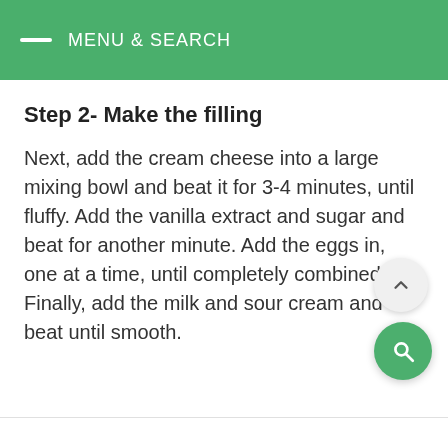MENU & SEARCH
Step 2- Make the filling
Next, add the cream cheese into a large mixing bowl and beat it for 3-4 minutes, until fluffy. Add the vanilla extract and sugar and beat for another minute. Add the eggs in, one at a time, until completely combined. Finally, add the milk and sour cream and beat until smooth.